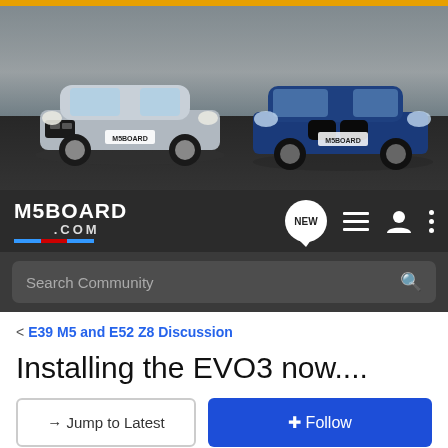[Figure (photo): M5Board.com website banner showing two BMW M5 cars (silver E39 and blue F90) on a snowy road, with orange bar at top]
M5BOARD .com – navigation bar with NEW chat badge, list icon, user icon, and menu dots
Search Community
< E39 M5 and E52 Z8 Discussion
Installing the EVO3 now....
→ Jump to Latest
+ Follow
1 - 15 of 15 Posts
ALEV8 · Registered
Joined Feb 22, 2004 · 366 Posts